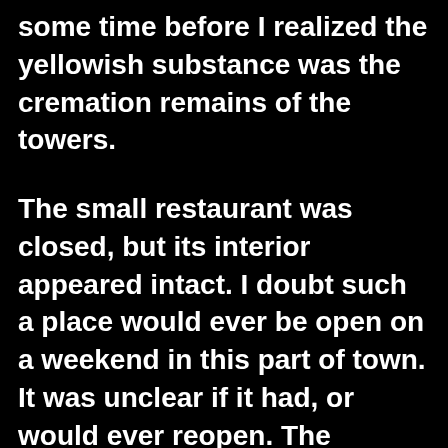some time before I realized the yellowish substance was the cremation remains of the towers.
The small restaurant was closed, but its interior appeared intact. I doubt such a place would ever be open on a weekend in this part of town. It was unclear if it had, or would ever reopen. The pictures clearly revealed how much had been cleaned up –